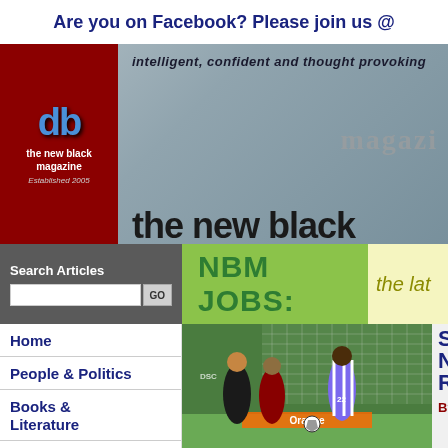19.Aug.2022
Are you on Facebook? Please join us @
[Figure (logo): The New Black Magazine logo: red background with 'db' in blue, text 'the new black magazine' and 'Established 2005']
intelligent, confident and thought provoking
the new black magazine
Search Articles
NBM JOBS:  the lat
Home
People & Politics
Books & Literature
Arts & Media
Business &
[Figure (photo): Football/soccer match photo showing players in a game, one in purple and white striped kit (number 22), others in dark kits, with a green goal net in background]
SEPP
NON
RACI
By Marc
Tuesday, November 22, 2011